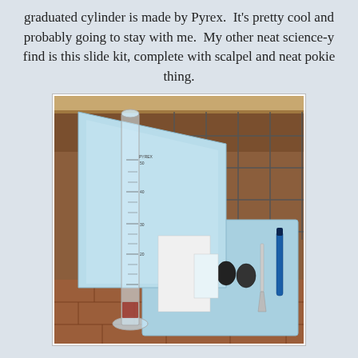graduated cylinder is made by Pyrex.  It's pretty cool and probably going to stay with me.  My other neat science-y find is this slide kit, complete with scalpel and neat pokie thing.
[Figure (photo): A Pyrex graduated cylinder standing next to an open light blue slide kit box containing microscope slides, black rubber caps, a metal tool, and a blue pen/marker, all resting on a brick-patterned tile floor with a wooden shelf above.]